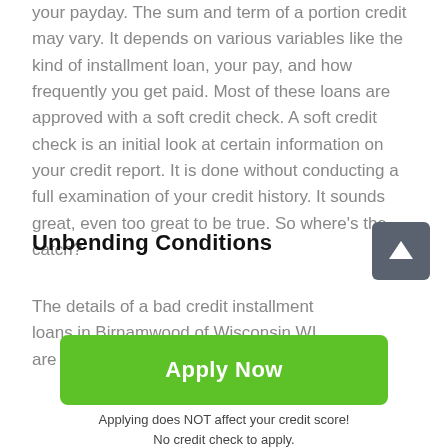your payday. The sum and term of a portion credit may vary. It depends on various variables like the kind of installment loan, your pay, and how frequently you get paid. Most of these loans are approved with a soft credit check. A soft credit check is an initial look at certain information on your credit report. It is done without conducting a full examination of your credit history. It sounds great, even too great to be true. So where's the catch?
Unbending Conditions
The details of a bad credit installment loans in Birnamwood of Wisconsin WI are agreed upon before
[Figure (other): Dark gray square button with a white upward arrow icon, used for scrolling to top.]
Apply Now
Applying does NOT affect your credit score!
No credit check to apply.